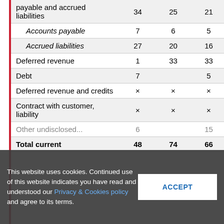|  | Col1 | Col2 | Col3 | Col4 |
| --- | --- | --- | --- | --- |
| payable and accrued liabilities | 34 | 25 | 21 | 20 |
| Accounts payable | 7 | 6 | 5 | 5 |
| Accrued liabilities | 27 | 20 | 16 | 15 |
| Deferred revenue | 1 | 33 | 33 | × |
| Debt | 7 |  | 5 | 11 |
| Deferred revenue and credits | × | × | × | × |
| Contract with customer, liability | × | × | × | 37 |
| Other undisclosed current liabilities | 6 |  | 15 |  |
| Total current | 48 | 74 | 66 | 75 |